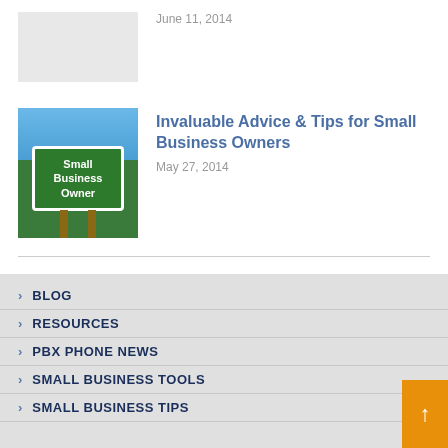June 11, 2014
[Figure (photo): Small Business Owner road sign against cloudy sky]
Invaluable Advice & Tips for Small Business Owners
May 27, 2014
BLOG
RESOURCES
PBX PHONE NEWS
SMALL BUSINESS TOOLS
SMALL BUSINESS TIPS